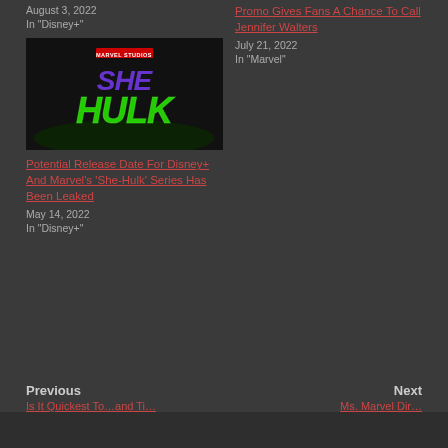August 3, 2022
In "Disney+"
Promo Gives Fans A Chance To Call Jennifer Walters
July 21, 2022
In "Marvel"
[Figure (photo): She-Hulk Marvel Studios logo image on dark background with purple 'SHE' and green 'HULK' text]
Potential Release Date For Disney+ And Marvel's 'She-Hulk' Series Has Been Leaked
May 14, 2022
In "Disney+"
Previous
Next